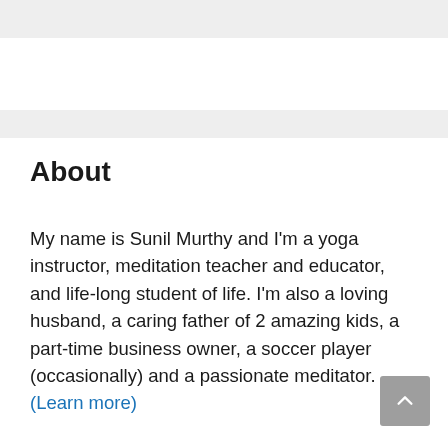About
My name is Sunil Murthy and I'm a yoga instructor, meditation teacher and educator, and life-long student of life. I'm also a loving husband, a caring father of 2 amazing kids, a part-time business owner, a soccer player (occasionally) and a passionate meditator. (Learn more)